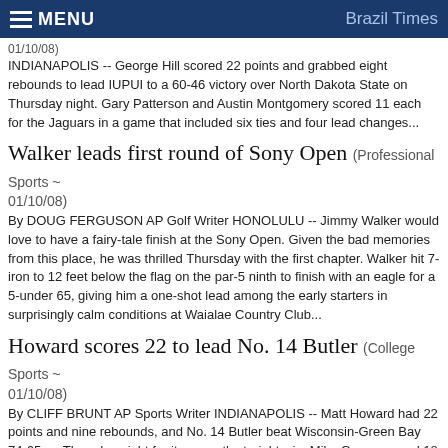MENU  Brazil Times
(College Sports ~ 01/10/08)
INDIANAPOLIS -- George Hill scored 22 points and grabbed eight rebounds to lead IUPUI to a 60-46 victory over North Dakota State on Thursday night. Gary Patterson and Austin Montgomery scored 11 each for the Jaguars in a game that included six ties and four lead changes...
Walker leads first round of Sony Open  (Professional Sports ~ 01/10/08)
By DOUG FERGUSON AP Golf Writer HONOLULU -- Jimmy Walker would love to have a fairy-tale finish at the Sony Open. Given the bad memories from this place, he was thrilled Thursday with the first chapter. Walker hit 7-iron to 12 feet below the flag on the par-5 ninth to finish with an eagle for a 5-under 65, giving him a one-shot lead among the early starters in surprisingly calm conditions at Waialae Country Club...
Howard scores 22 to lead No. 14 Butler  (College Sports ~ 01/10/08)
By CLIFF BRUNT AP Sports Writer INDIANAPOLIS -- Matt Howard had 22 points and nine rebounds, and No. 14 Butler beat Wisconsin-Green Bay 74-65 on Thursday night for its seventh straight win. Mike Green scored 18 points, A.J. Graves added 13 and Willie Veasley had seven points and a...